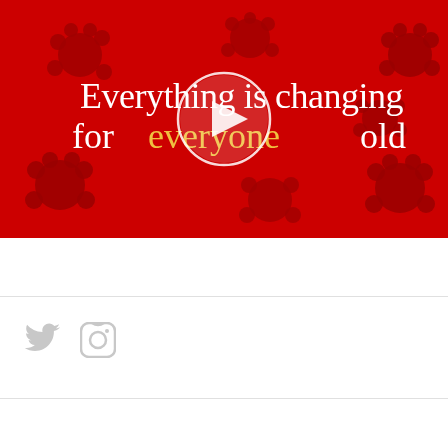[Figure (screenshot): Video thumbnail with red background featuring dark red coronavirus/virus graphics. White text reads 'Everything is changing for everyone old'. A white circular play button is centered over the image.]
[Figure (other): Social media icons: Twitter bird icon and Instagram camera icon, both in light gray color.]